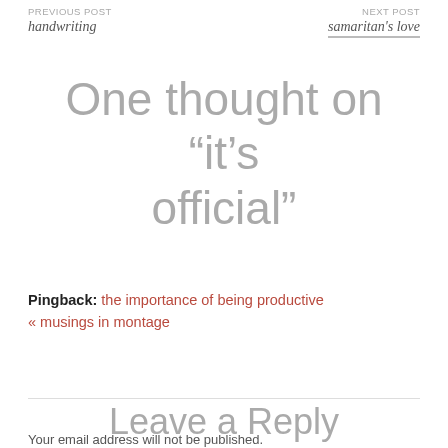PREVIOUS POST
handwriting
NEXT POST
samaritan's love
One thought on “it’s official”
Pingback: the importance of being productive « musings in montage
Leave a Reply
Your email address will not be published.